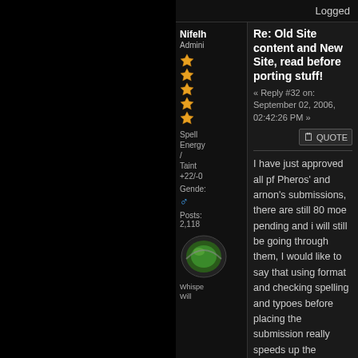Logged
Nifelh
Admini
Spell Energy / Taint +22/-0
Gender: ♂
Posts: 2,118
Re: Old Site content and New Site, read before porting stuff!
« Reply #32 on: September 02, 2006, 02:42:26 PM »
I have just approved all pf Pheros' and arnon's submissions, there are still 80 moe pending and i will still be going through them, I would like to say that using format and checking spelling and typoes before placing the submission really speeds up the process.